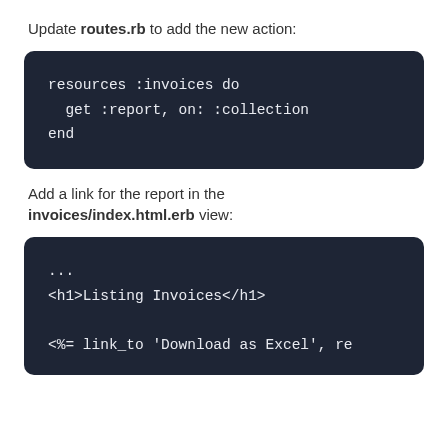Update routes.rb to add the new action:
[Figure (screenshot): Dark code block showing Ruby routes code: resources :invoices do / get :report, on: :collection / end]
Add a link for the report in the invoices/index.html.erb view:
[Figure (screenshot): Dark code block showing ERB template code: ... / <h1>Listing Invoices</h1> / <%= link_to 'Download as Excel', re...]